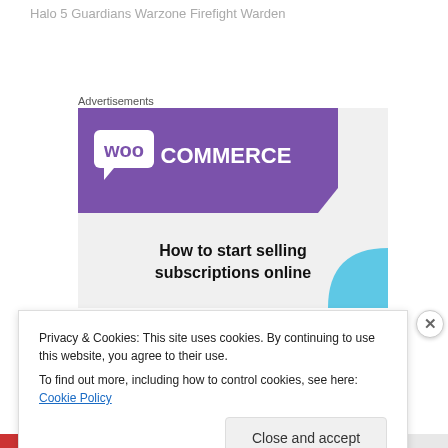Halo 5 Guardians Warzone Firefight Warden
Advertisements
[Figure (illustration): WooCommerce advertisement banner: purple background with WooCommerce logo (white 'woo' in speech bubble, 'COMMERCE' text), teal triangle bottom-left, light blue quarter-circle bottom-right, text 'How to start selling subscriptions online' on light gray background]
Privacy & Cookies: This site uses cookies. By continuing to use this website, you agree to their use.
To find out more, including how to control cookies, see here: Cookie Policy
Close and accept